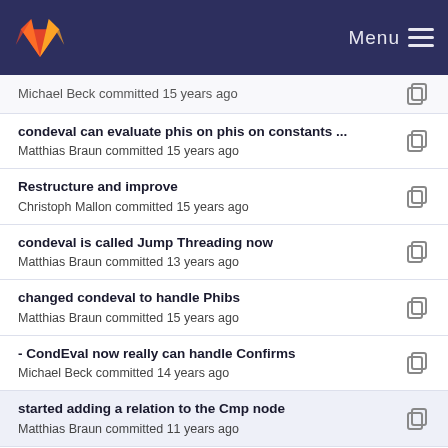Menu
Michael Beck committed 15 years ago
condeval can evaluate phis on phis on constants ...
Matthias Braun committed 15 years ago
Restructure and improve
Christoph Mallon committed 15 years ago
condeval is called Jump Threading now
Matthias Braun committed 13 years ago
changed condeval to handle Phibs
Matthias Braun committed 15 years ago
- CondEval now really can handle Confirms
Michael Beck committed 14 years ago
started adding a relation to the Cmp node
Matthias Braun committed 11 years ago
changed condeval to handle Phibs
Matthias Braun committed 15 years ago
Imprint